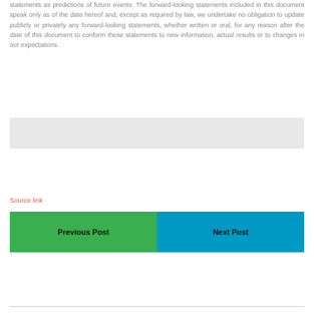statements as predictions of future events. The forward-looking statements included in this document speak only as of the date hereof and, except as required by law, we undertake no obligation to update publicly or privately any forward-looking statements, whether written or oral, for any reason after the date of this document to conform these statements to new information, actual results or to changes in our expectations.
[Figure (other): Gray rectangular placeholder box]
Source link
Previous Post
Next Post